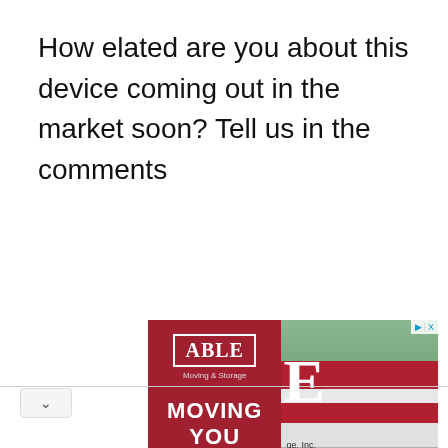How elated are you about this device coming out in the market soon? Tell us in the comments
[Figure (photo): Advertisement for Able Moving & Storage showing a red background with the Able logo in a white-bordered box, 'Moving & Storage' subtitle, and large white bold text reading 'MOVING YOU SAFELY'. The right side shows a photo of a bald man wearing a red shirt and blue surgical mask, with a moving truck in the background bearing red and white stripes and the letter E.]